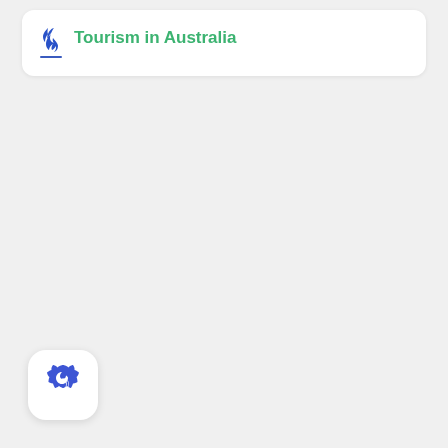Tourism in Australia
[Figure (logo): Blue gear/badge icon with a crescent moon symbol, white rounded square button in bottom-left corner]